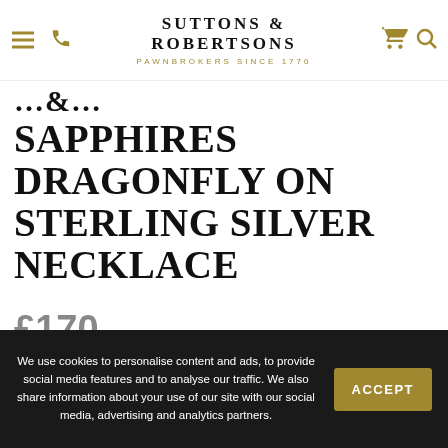Suttons & Robertsons — Pawnbrokers Since 1770
SAPPHIRES DRAGONFLY ON STERLING SILVER NECKLACE
£170
Out of stock
We use cookies to personalise content and ads, to provide social media features and to analyse our traffic. We also share information about your use of our site with our social media, advertising and analytics partners.